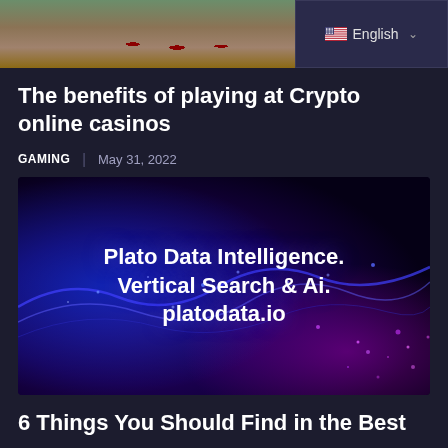[Figure (photo): Top partial image showing an outdoor scene with reddish cylindrical objects on sandy/earthy ground, partially cropped]
[Figure (other): Language selector widget showing US flag and 'English' label with dropdown arrow]
The benefits of playing at Crypto online casinos
GAMING | May 31, 2022
[Figure (illustration): Banner image with dark blue/purple background showing digital wave/network visualization with glowing blue and purple particles. Text overlay reads: Plato Data Intelligence. Vertical Search & Ai. platodata.io]
6 Things You Should Find in the Best